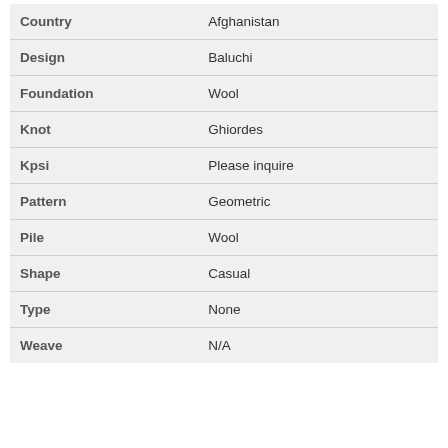| Attribute | Value |
| --- | --- |
| Country | Afghanistan |
| Design | Baluchi |
| Foundation | Wool |
| Knot | Ghiordes |
| Kpsi | Please inquire |
| Pattern | Geometric |
| Pile | Wool |
| Shape | Casual |
| Type | None |
| Weave | N/A |